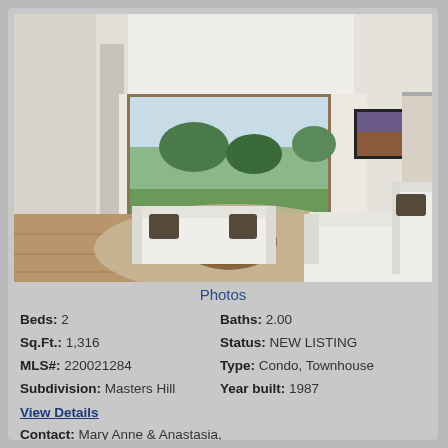[Figure (photo): Interior living room photo showing white sofas, round wooden coffee table, large window with golf course/green view, framed artwork on wall, and purple orchid flowers]
Photos
Beds: 2   Baths: 2.00
Sq.Ft.: 1,316   Status: NEW LISTING
MLS#: 220021284   Type: Condo, Townhouse
Subdivision: Masters Hill   Year built: 1987
View Details
Contact: Mary Anne & Anastasia,